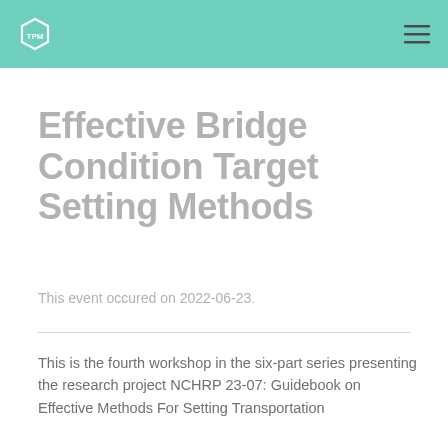TPM [logo] [menu]
Effective Bridge Condition Target Setting Methods
This event occured on 2022-06-23.
This is the fourth workshop in the six-part series presenting the research project NCHRP 23-07: Guidebook on Effective Methods For Setting Transportation